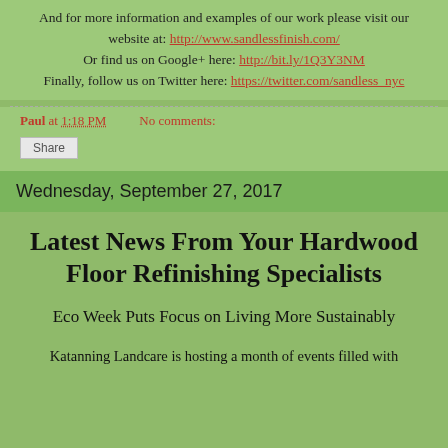And for more information and examples of our work please visit our website at: http://www.sandlessfinish.com/ Or find us on Google+ here: http://bit.ly/1Q3Y3NM Finally, follow us on Twitter here: https://twitter.com/sandless_nyc
Paul at 1:18 PM   No comments:
Share
Wednesday, September 27, 2017
Latest News From Your Hardwood Floor Refinishing Specialists
Eco Week Puts Focus on Living More Sustainably
Katanning Landcare is hosting a month of events filled with